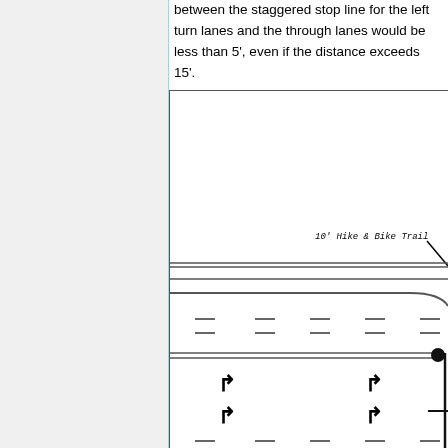between the staggered stop line for the left turn lanes and the through lanes would be less than 5', even if the distance exceeds 15'.
[Figure (engineering-diagram): Road intersection engineering diagram showing lane markings, turn arrows, dashed lane dividers, double solid lines, and a '10' Hike & Bike Trail' label with leader line. Multiple traffic lanes with directional arrows (left-turn arrows) visible, horizontal lane lines, and stop bar markings.]